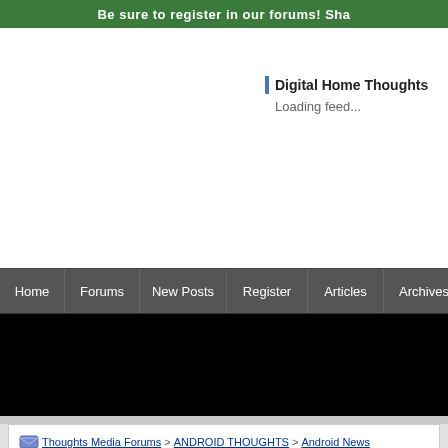Be sure to register in our forums! Sha
Digital Home Thoughts
Loading feed...
Home | Forums | New Posts | Register | Articles | Archives | Shop | Con
[Figure (screenshot): Black advertisement banner area]
Thoughts Media Forums > ANDROID THOUGHTS > Android News
Press Release: HTC Announces the New HTC One Series
FAQ | Members List | Calendar
Post Reply
02-27-2012, 08:00 PM